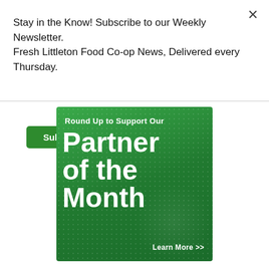Stay in the Know! Subscribe to our Weekly Newsletter. Fresh Littleton Food Co-op News, Delivered every Thursday.
Subscribe
[Figure (infographic): Green promotional banner for 'Round Up to Support Our Partner of the Month' with a 'Learn More >>' call to action on a dark green gradient background with dot pattern.]